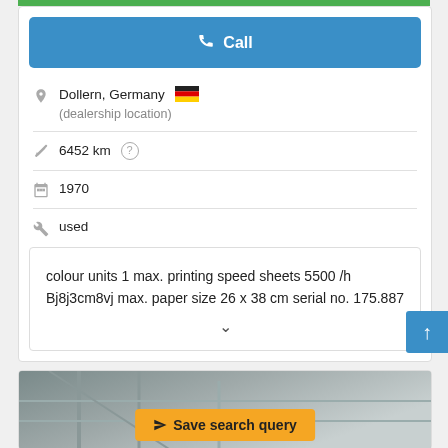Call
Dollern, Germany (dealership location)
6452 km
1970
used
colour units 1 max. printing speed sheets 5500 /h Bj8j3cm8vj max. paper size 26 x 38 cm serial no. 175.887
Save search query